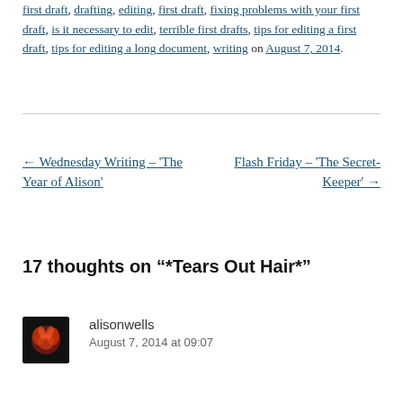first draft, drafting, editing, first draft, fixing problems with your first draft, is it necessary to edit, terrible first drafts, tips for editing a first draft, tips for editing a long document, writing on August 7, 2014.
← Wednesday Writing – 'The Year of Alison'
Flash Friday – 'The Secret-Keeper' →
17 thoughts on “*Tears Out Hair*”
alisonwells
August 7, 2014 at 09:07